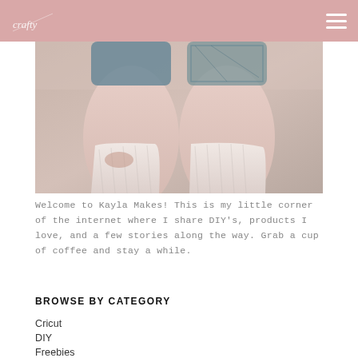crafty [logo] [hamburger menu]
[Figure (photo): Close-up photo of a person's legs wearing knee-high cream/white ribbed socks, denim shorts, and one leg wearing a patterned teal/blue sock or shoe]
Welcome to Kayla Makes! This is my little corner of the internet where I share DIY's, products I love, and a few stories along the way. Grab a cup of coffee and stay a while.
BROWSE BY CATEGORY
Cricut
DIY
Freebies